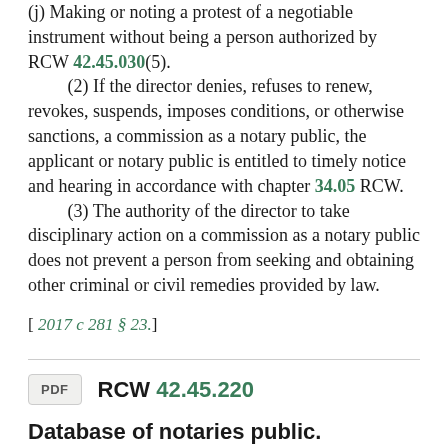(j) Making or noting a protest of a negotiable instrument without being a person authorized by RCW 42.45.030(5).
(2) If the director denies, refuses to renew, revokes, suspends, imposes conditions, or otherwise sanctions, a commission as a notary public, the applicant or notary public is entitled to timely notice and hearing in accordance with chapter 34.05 RCW.
(3) The authority of the director to take disciplinary action on a commission as a notary public does not prevent a person from seeking and obtaining other criminal or civil remedies provided by law.
[ 2017 c 281 § 23.]
RCW 42.45.220
Database of notaries public.
The director shall maintain an electronic